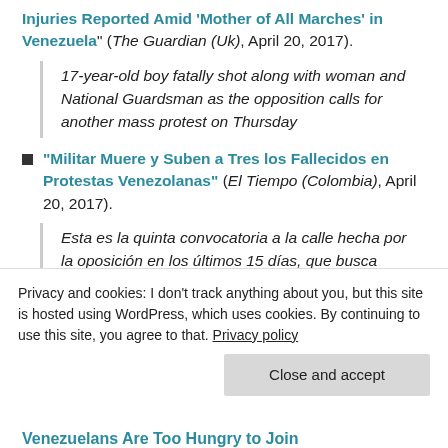Injuries Reported Amid 'Mother of All Marches' in Venezuela" (The Guardian (Uk), April 20, 2017).
17-year-old boy fatally shot along with woman and National Guardsman as the opposition calls for another mass protest on Thursday
"Militar Muere y Suben a Tres los Fallecidos en Protestas Venezolanas" (El Tiempo (Colombia), April 20, 2017).
Esta es la quinta convocatoria a la calle hecha por la oposición en los últimos 15 días, que busca...
Privacy and cookies: I don't track anything about you, but this site is hosted using WordPress, which uses cookies. By continuing to use this site, you agree to that. Privacy policy
Close and accept
Venezuelans Are Too Hungry to Join